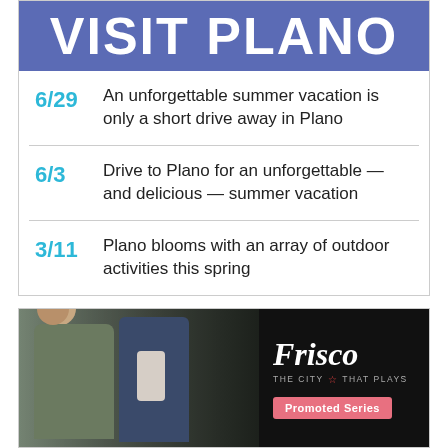VISIT PLANO
6/29  An unforgettable summer vacation is only a short drive away in Plano
6/3  Drive to Plano for an unforgettable — and delicious — summer vacation
3/11  Plano blooms with an array of outdoor activities this spring
[Figure (infographic): Frisco – The City That Plays promotional ad. Shows two women in a craft/retail setting on the left side with a dark right panel containing the Frisco logo and 'Promoted Series' label.]